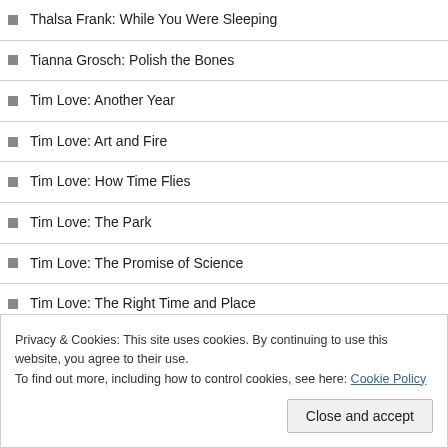Thalsa Frank: While You Were Sleeping
Tianna Grosch: Polish the Bones
Tim Love: Another Year
Tim Love: Art and Fire
Tim Love: How Time Flies
Tim Love: The Park
Tim Love: The Promise of Science
Tim Love: The Right Time and Place
Tim Love: What She Missed
Timothy Boudreau: I Love Our Voices When We Sing Off-Key
Tobias Baudry: A Hard Goodbye
Privacy & Cookies: This site uses cookies. By continuing to use this website, you agree to their use. To find out more, including how to control cookies, see here: Cookie Policy
Close and accept